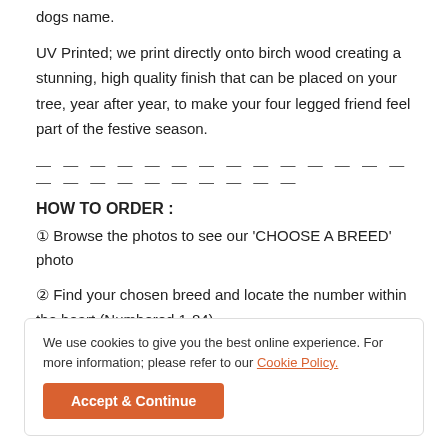dogs name.
UV Printed; we print directly onto birch wood creating a stunning, high quality finish that can be placed on your tree, year after year, to make your four legged friend feel part of the festive season.
— — — — — — — — — — — — — — — — — — — — — — — —
HOW TO ORDER :
① Browse the photos to see our 'CHOOSE A BREED' photo
② Find your chosen breed and locate the number within the heart (Numbered 1-84)
We use cookies to give you the best online experience. For more information; please refer to our Cookie Policy.